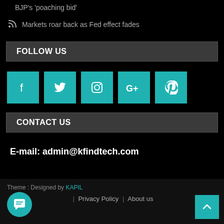BJP's 'poaching bid'
Markets roar back as Fed effect fades
FOLLOW US
[Figure (infographic): Five social media icon buttons in teal/cyan color: Facebook (f), Twitter (bird), Instagram (camera), Google+ (G+), Pinterest (p)]
CONTACT US
E-mail: admin@kfindtech.com
Theme : Designed by KAPIL | Privacy Policy | About us